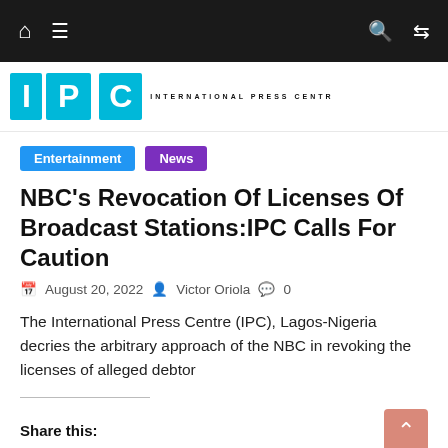Navigation bar with home, menu, search, and shuffle icons
[Figure (logo): International Press Centre logo with blue graphic elements and bold uppercase text reading INTERNATIONAL PRESS CENTR]
Entertainment  News
NBC's Revocation Of Licenses Of Broadcast Stations:IPC Calls For Caution
August 20, 2022  Victor Oriola  0
The International Press Centre (IPC), Lagos-Nigeria decries the arbitrary approach of the NBC in revoking the licenses of alleged debtor
Share this: